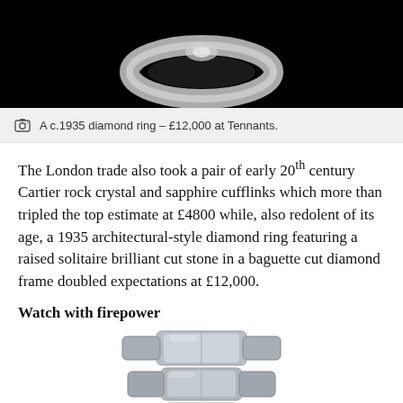[Figure (photo): Close-up photo of a c.1935 diamond ring on black background, showing the ring from above with metallic silver setting]
A c.1935 diamond ring – £12,000 at Tennants.
The London trade also took a pair of early 20th century Cartier rock crystal and sapphire cufflinks which more than tripled the top estimate at £4800 while, also redolent of its age, a 1935 architectural-style diamond ring featuring a raised solitaire brilliant cut stone in a baguette cut diamond frame doubled expectations at £12,000.
Watch with firepower
[Figure (photo): Close-up photo of a silver/steel watch bracelet/strap showing oyster-style links, cropped at bottom of page]